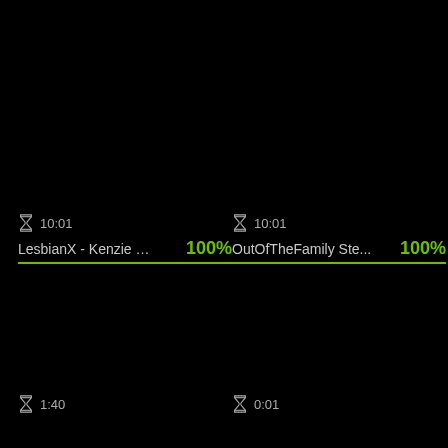⌛ 10:01  LesbianX - Kenzie & ...  100%
⌛ 10:01  OutOfTheFamily Ste...  100%
⌛ 1:40
⌛ 0:01